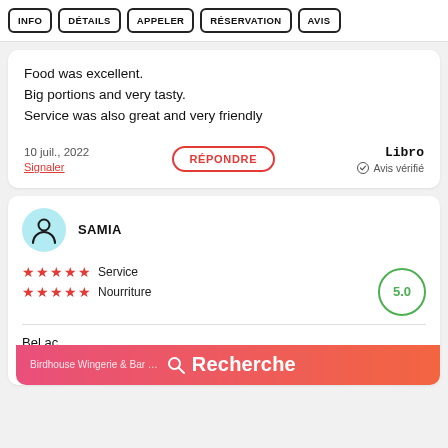INFO | DÉTAILS | APPELER | RÉSERVATION | AVIS
Food was excellent.
Big portions and very tasty.
Service was also great and very friendly
10 juil., 2022
Signaler
RÉPONDRE
Libro
⊙ Avis vérifié
SAMIA
★★★★★ Service
★★★★★ Nourriture
5.0
Bel ac…
succul…
Birdhouse Wingerie & Bar … 🔍 Recherche